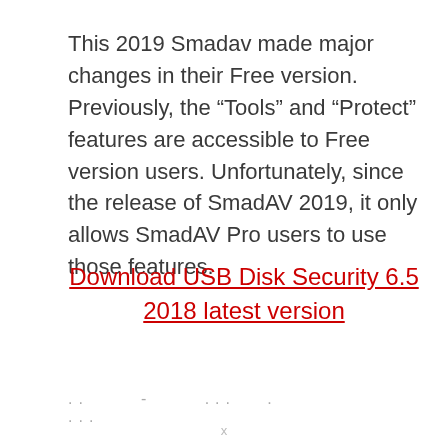This 2019 Smadav made major changes in their Free version. Previously, the “Tools” and “Protect” features are accessible to Free version users. Unfortunately, since the release of SmadAV 2019, it only allows SmadAV Pro users to use those features.
Download USB Disk Security 6.5 2018 latest version
.. . - . ... . . ...